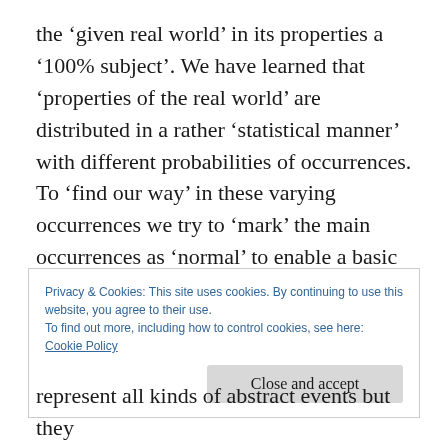the ‘given real world’ in its properties a ‘100% subject’. We have learned that ‘properties of the real world’ are distributed in a rather ‘statistical manner’ with different probabilities of occurrences. To ‘find our way’ in these varying occurrences we try to ‘mark’ the main occurrences as ‘normal’ to enable a basic structure for expectations and planning. Thus, if in this text the expression ‘normal’ is used it refers to the ‘most common occurrences’.
Privacy & Cookies: This site uses cookies. By continuing to use this website, you agree to their use.
To find out more, including how to control cookies, see here:
Cookie Policy
Close and accept
represent all kinds of abstract events but they